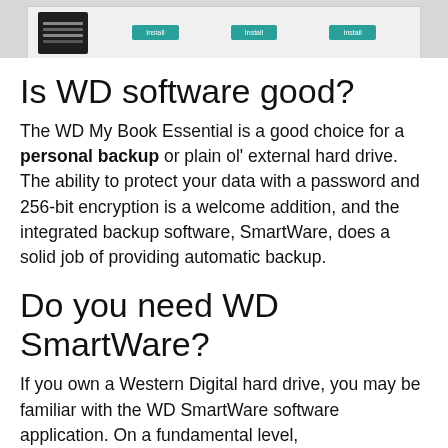[Figure (screenshot): Screenshot of WD software installer interface showing dark sidebar on left and three install buttons in teal/green on a light background.]
Is WD software good?
The WD My Book Essential is a good choice for a personal backup or plain ol' external hard drive. The ability to protect your data with a password and 256-bit encryption is a welcome addition, and the integrated backup software, SmartWare, does a solid job of providing automatic backup.
Do you need WD SmartWare?
If you own a Western Digital hard drive, you may be familiar with the WD SmartWare software application. On a fundamental level,